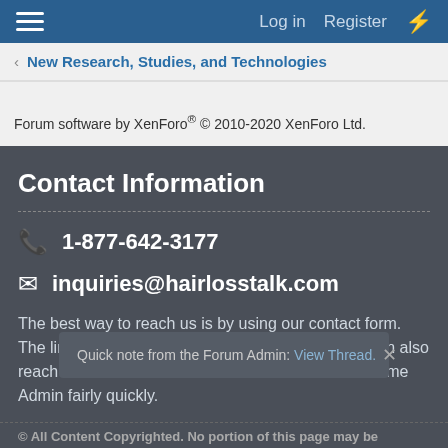Log in   Register
< New Research, Studies, and Technologies
Forum software by XenForo® © 2010-2020 XenForo Ltd.
Contact Information
1-877-642-3177
inquiries@hairlosstalk.com
The best way to reach us is by using our contact form. The link is on the bottom right of every page. You can also reach the Admin of the site on the Forums at username Admin fairly quickly.
Quick note from the Forum Admin: View Thread.
© All Content Copyrighted. No portion of this page may be